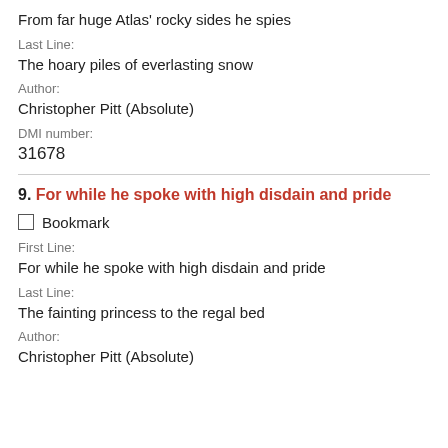From far huge Atlas' rocky sides he spies
Last Line:
The hoary piles of everlasting snow
Author:
Christopher Pitt (Absolute)
DMI number:
31678
9. For while he spoke with high disdain and pride
Bookmark
First Line:
For while he spoke with high disdain and pride
Last Line:
The fainting princess to the regal bed
Author:
Christopher Pitt (Absolute)